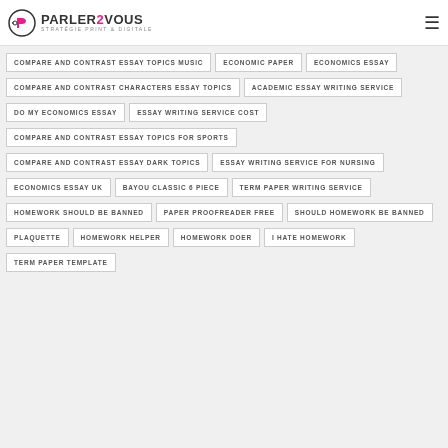PARLER2VOUS STRATÉGIE PRINT & DIGITALE
COMPARE AND CONTRAST ESSAY TOPICS MUSIC
ECONOMIC PAPER
ECONOMICS ESSAY
COMPARE AND CONTRAST CHARACTERS ESSAY TOPICS
ACADEMIC ESSAY WRITING SERVICE
DO MY ECONOMICS ESSAY
ESSAY WRITING SERVICE COST
COMPARE AND CONTRAST ESSAY TOPICS FOR SPORTS
COMPARE AND CONTRAST ESSAY DARK TOPICS
ESSAY WRITING SERVICE FOR NURSING
ECONOMICS ESSAY UK
BAYOU CLASSIC 6 PIECE
TERM PAPER WRITING SERVICE
HOMEWORK SHOULD BE BANNED
PAPER PROOFREADER FREE
SHOULD HOMEWORK BE BANNED
PLAQUETTE
HOMEWORK HELPER
HOMEWORK DOER
I HATE HOMEWORK
TERM PAPER TEMPLATE